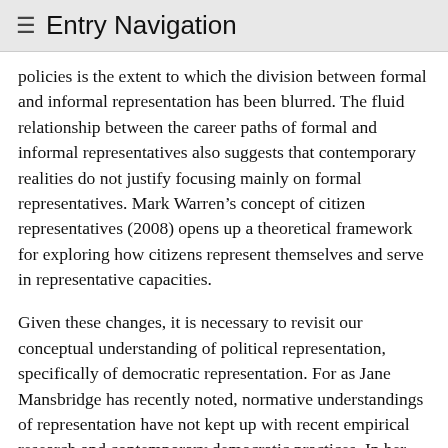≡ Entry Navigation
policies is the extent to which the division between formal and informal representation has been blurred. The fluid relationship between the career paths of formal and informal representatives also suggests that contemporary realities do not justify focusing mainly on formal representatives. Mark Warren's concept of citizen representatives (2008) opens up a theoretical framework for exploring how citizens represent themselves and serve in representative capacities.
Given these changes, it is necessary to revisit our conceptual understanding of political representation, specifically of democratic representation. For as Jane Mansbridge has recently noted, normative understandings of representation have not kept up with recent empirical research and contemporary democratic practices. In her important article “Rethinking Representation” Mansbridge identifies four forms of representation in modern democracies: promissory, anticipatory, gyroscopic and surrogacy. Promissory representation is a form of representation in which...